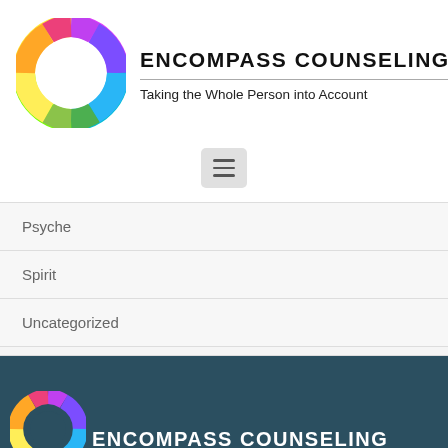[Figure (logo): Encompass Counseling colorful donut/ring logo with rainbow gradient colors]
ENCOMPASS COUNSELING
Taking the Whole Person into Account
[Figure (other): Hamburger menu icon (three horizontal lines) on a light grey rounded rectangle background]
Psyche
Spirit
Uncategorized
[Figure (logo): Encompass Counseling colorful donut/ring logo (partial, bottom of page) on dark teal background]
ENCOMPASS COUNSELING